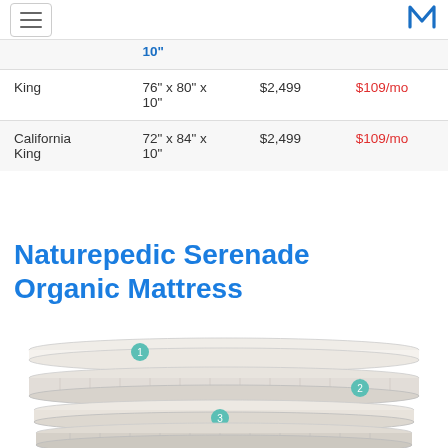Menu | M logo
| Size | Dimensions | Price | Monthly |
| --- | --- | --- | --- |
|  | 10" |  |  |
| King | 76" x 80" x 10" | $2,499 | $109/mo |
| California King | 72" x 84" x 10" | $2,499 | $109/mo |
Naturepedic Serenade Organic Mattress
[Figure (illustration): Exploded/layered view of the Naturepedic Serenade Organic Mattress showing 4 numbered layers in cross-section with teal numbered circles.]